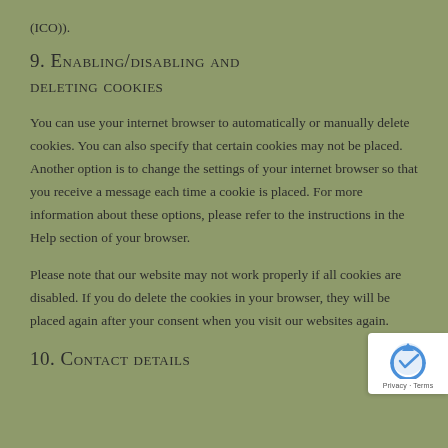(ICO)).
9. Enabling/disabling and deleting cookies
You can use your internet browser to automatically or manually delete cookies. You can also specify that certain cookies may not be placed. Another option is to change the settings of your internet browser so that you receive a message each time a cookie is placed. For more information about these options, please refer to the instructions in the Help section of your browser.
Please note that our website may not work properly if all cookies are disabled. If you do delete the cookies in your browser, they will be placed again after your consent when you visit our websites again.
10. Contact details